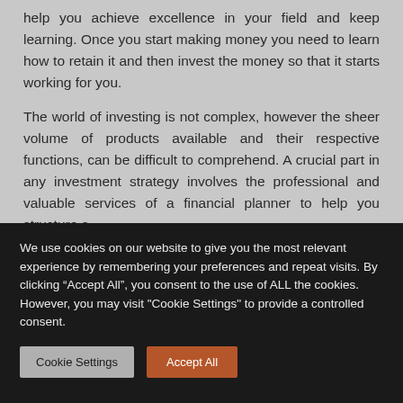help you achieve excellence in your field and keep learning. Once you start making money you need to learn how to retain it and then invest the money so that it starts working for you.
The world of investing is not complex, however the sheer volume of products available and their respective functions, can be difficult to comprehend. A crucial part in any investment strategy involves the professional and valuable services of a financial planner to help you structure a
We use cookies on our website to give you the most relevant experience by remembering your preferences and repeat visits. By clicking “Accept All”, you consent to the use of ALL the cookies. However, you may visit "Cookie Settings" to provide a controlled consent.